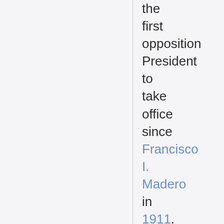the first opposition President to take office since Francisco I. Madero in 1911. He wins the